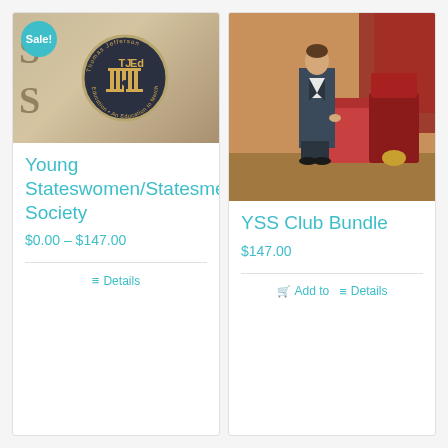[Figure (photo): TJEd book cover with Sale badge and TJEd circular logo]
Young Stateswomen/Statesmen Society
$0.00 – $147.00
Details
[Figure (photo): Portrait painting of a 19th century statesman in formal attire standing beside a table with red cloth]
YSS Club Bundle
$147.00
Add to
Details